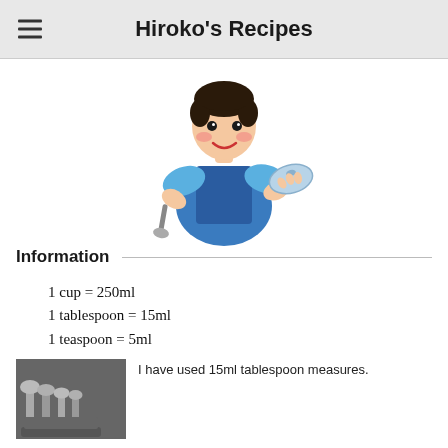Hiroko's Recipes
[Figure (illustration): Cartoon illustration of a cook/chef holding a spoon and a pot lid, wearing a blue apron]
Information
1 cup = 250ml
1 tablespoon = 15ml
1 teaspoon = 5ml
[Figure (photo): Photo of measuring spoons/utensils in a container]
I have used 15ml tablespoon measures.